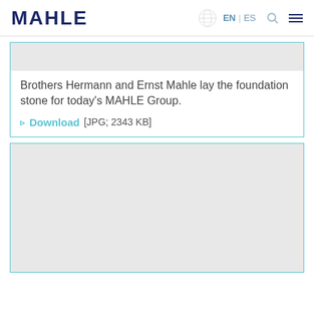MAHLE | EN | ES
[Figure (screenshot): Top portion of a card showing a gray image placeholder area with teal border]
Brothers Hermann and Ernst Mahle lay the foundation stone for today's MAHLE Group.
Download [JPG; 2343 KB]
[Figure (photo): Second card with teal border and large gray image placeholder area]